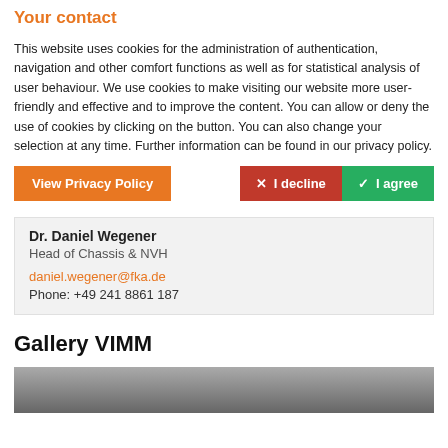Your contact
This website uses cookies for the administration of authentication, navigation and other comfort functions as well as for statistical analysis of user behaviour. We use cookies to make visiting our website more user-friendly and effective and to improve the content. You can allow or deny the use of cookies by clicking on the button. You can also change your selection at any time. Further information can be found in our privacy policy.
View Privacy Policy | I decline | I agree
Dr. Daniel Wegener
Head of Chassis & NVH
daniel.wegener@fka.de
Phone: +49 241 8861 187
Gallery VIMM
[Figure (photo): Gallery VIMM image showing an interior view]